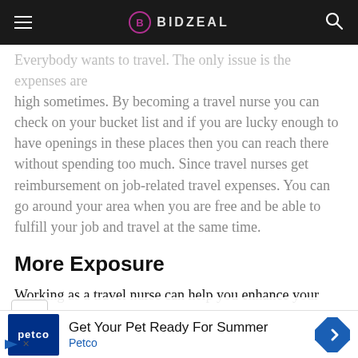BIDZEAL
Everybody wants to travel. The only issue is the expenses are high sometimes. By becoming a travel nurse you can check on your bucket list and if you are lucky enough to have openings in these places then you can reach there without spending too much. Since travel nurses get reimbursement on job-related travel expenses. You can go around your area when you are free and be able to fulfill your job and travel at the same time.
More Exposure
Working as a travel nurse can help you enhance your skills and knowledge as a nurse. Since you will be exposed to different
[Figure (other): Petco advertisement banner: 'Get Your Pet Ready For Summer' with Petco logo and navigation arrow icon]